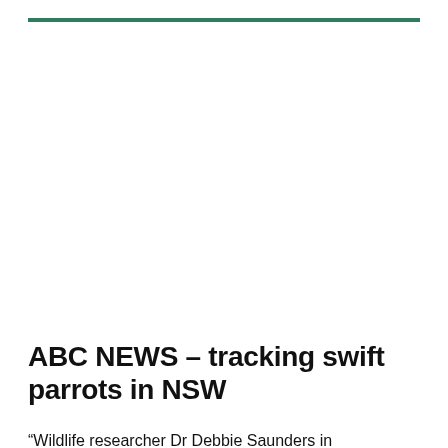ABC NEWS – tracking swift parrots in NSW
“Wildlife researcher Dr Debbie Saunders in